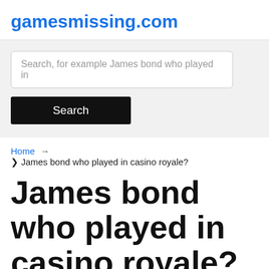gamesmissing.com
[Figure (screenshot): Search bar with placeholder text 'Search, for example James bond who played in' and a black Search button below]
Home → ❯ James bond who played in casino royale?
James bond who played in casino royale?